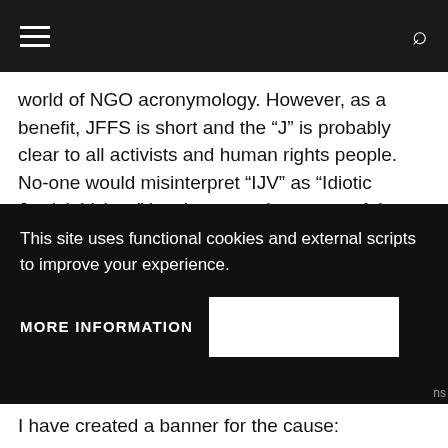Navigation bar with hamburger menu and search icon
world of NGO acronymology. However, as a benefit, JFFS is short and the “J” is probably clear to all activists and human rights people. No-one would misinterpret “IJV” as “Idiotic Jewish Voices” just because that group of three or four liberal Jews wants to destroy Israel.
As the first step, so to speak, my movement is going to create and promote the “Million Jew
This site uses functional cookies and external scripts to improve your experience.
MORE INFORMATION
I have created a banner for the cause: